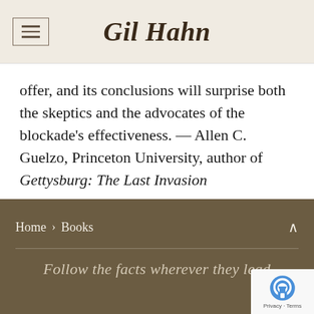Gil Hahn
offer, and its conclusions will surprise both the skeptics and the advocates of the blockade’s effectiveness. — Allen C. Guelzo, Princeton University, author of Gettysburg: The Last Invasion
Home › Books
Follow the facts wherever they lead